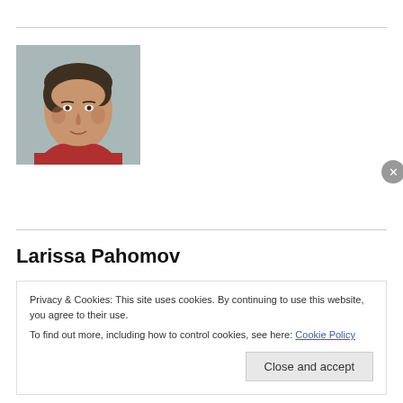[Figure (photo): Portrait photo of a woman with short dark hair wearing a red top, against a light blue-grey background.]
Larissa Pahomov
Privacy & Cookies: This site uses cookies. By continuing to use this website, you agree to their use.
To find out more, including how to control cookies, see here: Cookie Policy